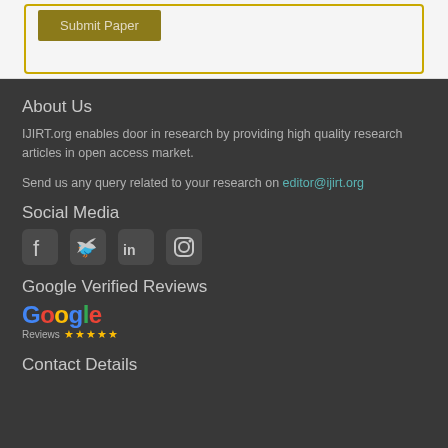Submit Paper
About Us
IJIRT.org enables door in research by providing high quality research articles in open access market.
Send us any query related to your research on editor@ijirt.org
Social Media
[Figure (illustration): Social media icons: Facebook, Twitter, LinkedIn, Instagram]
Google Verified Reviews
[Figure (logo): Google Reviews logo with 5 gold stars]
Contact Details